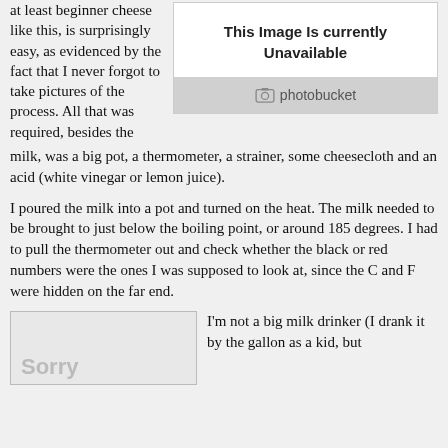at least beginner cheese like this, is surprisingly easy, as evidenced by the fact that I never forgot to take pictures of the process. All that was required, besides the milk, was a big pot, a thermometer, a strainer, some cheesecloth and an acid (white vinegar or lemon juice).
[Figure (other): Photobucket placeholder image showing 'This Image Is currently Unavailable' with a Photobucket logo at the bottom]
I poured the milk into a pot and turned on the heat. The milk needed to be brought to just below the boiling point, or around 185 degrees. I had to pull the thermometer out and check whether the black or red numbers were the ones I was supposed to look at, since the C and F were hidden on the far end.
[Figure (other): Another placeholder image showing 'Sorry' text partially visible]
I'm not a big milk drinker (I drank it by the gallon as a kid, but